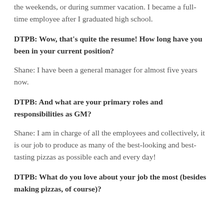the weekends, or during summer vacation. I became a full-time employee after I graduated high school.
DTPB: Wow, that's quite the resume! How long have you been in your current position?
Shane: I have been a general manager for almost five years now.
DTPB: And what are your primary roles and responsibilities as GM?
Shane: I am in charge of all the employees and collectively, it is our job to produce as many of the best-looking and best-tasting pizzas as possible each and every day!
DTPB: What do you love about your job the most (besides making pizzas, of course)?